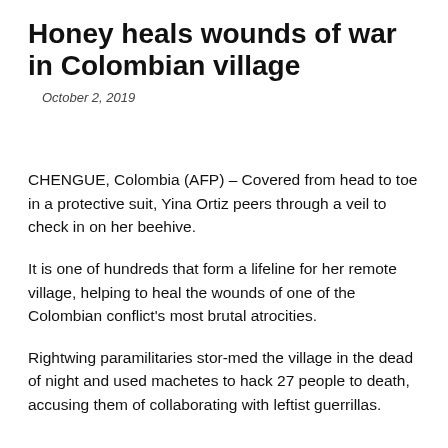Honey heals wounds of war in Colombian village
October 2, 2019
CHENGUE, Colombia (AFP) – Covered from head to toe in a protective suit, Yina Ortiz peers through a veil to check in on her beehive.
It is one of hundreds that form a lifeline for her remote village, helping to heal the wounds of one of the Colombian conflict's most brutal atrocities.
Rightwing paramilitaries stor-med the village in the dead of night and used machetes to hack 27 people to death, accusing them of collaborating with leftist guerrillas.